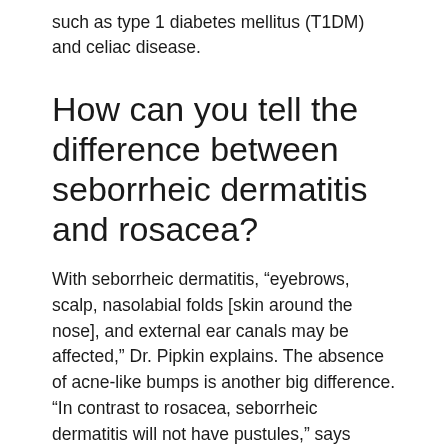such as type 1 diabetes mellitus (T1DM) and celiac disease.
How can you tell the difference between seborrheic dermatitis and rosacea?
With seborrheic dermatitis, “eyebrows, scalp, nasolabial folds [skin around the nose], and external ear canals may be affected,” Dr. Pipkin explains. The absence of acne-like bumps is another big difference. “In contrast to rosacea, seborrheic dermatitis will not have pustules,” says Pipkin.